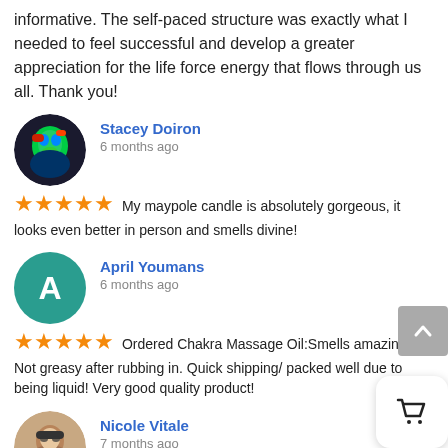informative. The self-paced structure was exactly what I needed to feel successful and develop a greater appreciation for the life force energy that flows through us all. Thank you!
Stacey Doiron
6 months ago
★★★★★ My maypole candle is absolutely gorgeous, it looks even better in person and smells divine!
April Youmans
6 months ago
★★★★★ Ordered Chakra Massage Oil:Smells amazing! Not greasy after rubbing in. Quick shipping/ packed well due to being liquid! Very good quality product!
Nicole Vitale
7 months ago
★★★★★ I think I just found the best spray energy water! It happens to be quite strong keeping your space protected from unwelcome